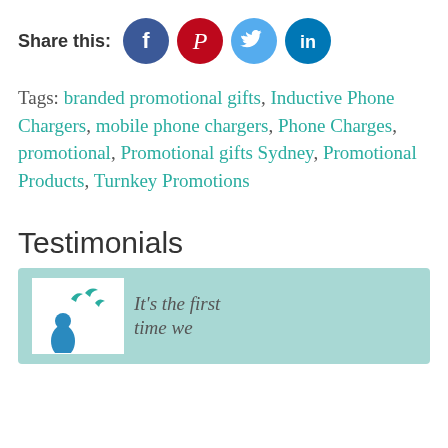Share this: [Facebook] [Pinterest] [Twitter] [LinkedIn]
Tags: branded promotional gifts, Inductive Phone Chargers, mobile phone chargers, Phone Charges, promotional, Promotional gifts Sydney, Promotional Products, Turnkey Promotions
Testimonials
It's the first time we